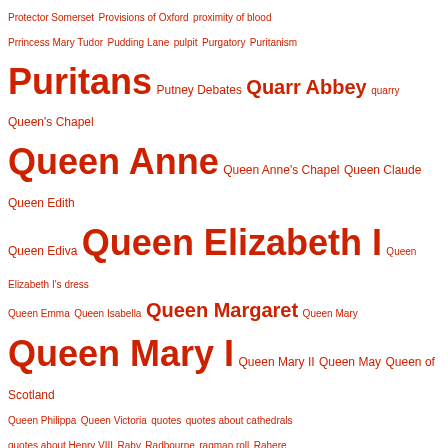Protector Somerset Provisions of Oxford proximity of blood Prrincess Mary Tudor Pudding Lane pulpit Purgatory Puritanism Puritans Putney Debates Quarr Abbey quarry Queen's Chapel Queen Anne Queen Anne's Chapel Queen Claude Queen Edith Queen Ediva Queen Elizabeth I Queen Elizabeth I's dress Queen Emma Queen Isabella Queen Margaret Queen Mary Queen Mary I Queen Mary II Queen May Queen of Scotland Queen Philippa Queen Victoria quotes quotes about cathedrals quotes about Henry VIII Raby Radbourne ragman roll Rahere Raid of Leith Raid of Reidswire Raid on the Medway Ralph Adlave Ralph Atkinson Ralph Cromwell Ralph d'Escures Ralph Dacre Ralph de Lincoln Ralph de Monthermer Ralph Fitzherbert Ralph Greystoke Ralph Hopton Ralph Neville Ralph Neville 1st Earl of Westmorland Ralph Neville 2nd Earl of Westmorland Ralph Neville of Oversley Ralph of Coggeshall Ralph Scrope Ralph Scrope of Upsall Ralph Verney Ramsey Abbey Randall McDonnell Ranulf de Briquessart Ranulf le Meschin Ranulf Meschin Ranulph Dacre Ranulph de Briquessart Ranulph de Dacre Ranulph de Meschines